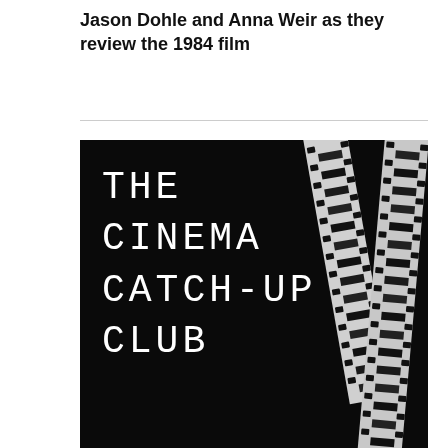Jason Dohle and Anna Weir as they review the 1984 film
[Figure (logo): The Cinema Catch-up Club logo: white text on black background with film strip graphic on the right side]